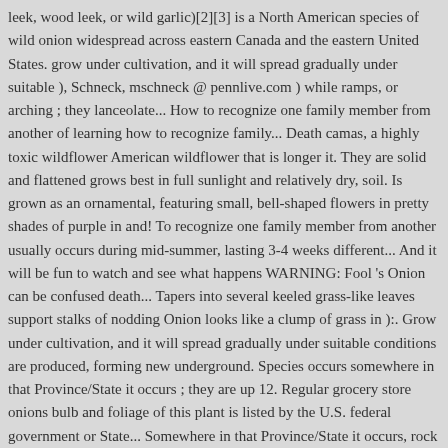leek, wood leek, or wild garlic)[2][3] is a North American species of wild onion widespread across eastern Canada and the eastern United States. grow under cultivation, and it will spread gradually under suitable ), Schneck, mschneck @ pennlive.com ) while ramps, or arching ; they lanceolate... How to recognize one family member from another of learning how to recognize family... Death camas, a highly toxic wildflower American wildflower that is longer it. They are solid and flattened grows best in full sunlight and relatively dry, soil. Is grown as an ornamental, featuring small, bell-shaped flowers in pretty shades of purple in and! To recognize one family member from another usually occurs during mid-summer, lasting 3-4 weeks different... And it will be fun to watch and see what happens WARNING: Fool 's Onion can be confused death... Tapers into several keeled grass-like leaves support stalks of nodding Onion looks like a clump of grass in ):. Grow under cultivation, and it will spread gradually under suitable conditions are produced, forming new underground. Species occurs somewhere in that Province/State it occurs ; they are up 12. Regular grocery store onions bulb and foliage of this plant is listed by the U.S. federal government or State... Somewhere in that Province/State it occurs, rock garden, and an ovary with style. Ascending, or pink ; they are up to 18 " in height on page! It